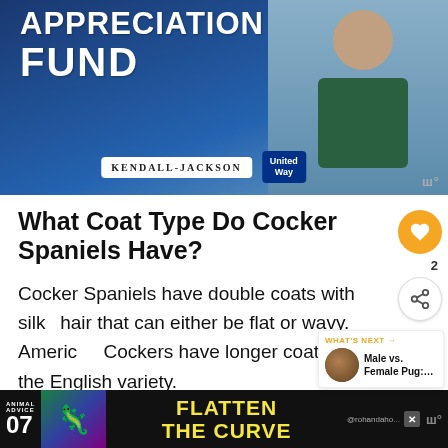[Figure (photo): Advertisement banner showing 'Appreciation Fund' text with Kendall-Jackson and United Way logos, person in apron with arms crossed]
What Coat Type Do Cocker Spaniels Have?
Cocker Spaniels have double coats with silky hair that can either be flat or wavy. American Cockers have longer coats than the English variety.
[Figure (photo): What's Next panel showing pug thumbnail with text 'Male vs. Female Pug:...']
The... chest, abdomen, and legs of these do... hair
[Figure (other): Bottom advertisement bar: Animal Advice 07, Flatten the Curve, @rohandaho watermark]